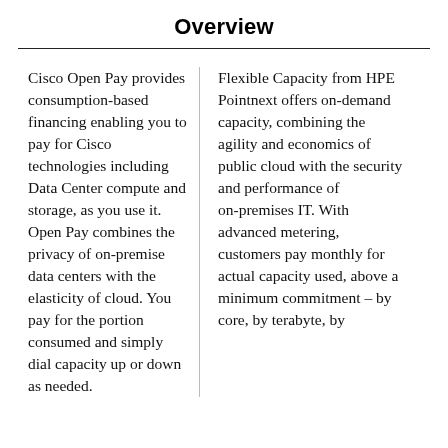Overview
Cisco Open Pay provides consumption-based financing enabling you to pay for Cisco technologies including Data Center compute and storage, as you use it. Open Pay combines the privacy of on-premise data centers with the elasticity of cloud. You pay for the portion consumed and simply dial capacity up or down as needed.
Flexible Capacity from HPE Pointnext offers on-demand capacity, combining the agility and economics of public cloud with the security and performance of on-premises IT. With advanced metering, customers pay monthly for actual capacity used, above a minimum commitment – by core, by terabyte, by